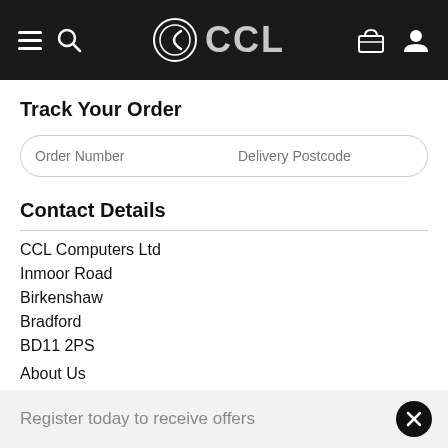CCL (navigation header with logo, search, basket, account icons)
Track Your Order
Order Number | Delivery Postcode | Track Order
Contact Details
CCL Computers Ltd
Inmoor Road
Birkenshaw
Bradford
BD11 2PS
About Us
Contact Us
Register today to receive offers